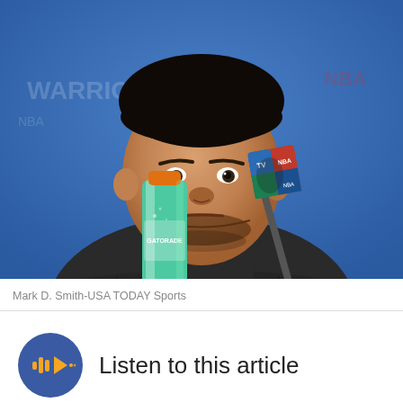[Figure (photo): Basketball player (appears to be Stephen Curry) sitting at a press conference table with a Gatorade bottle and NBA TV microphone in front of him. Blue NBA backdrop behind. Player wearing dark grey hoodie/sweater.]
Mark D. Smith-USA TODAY Sports
Listen to this article